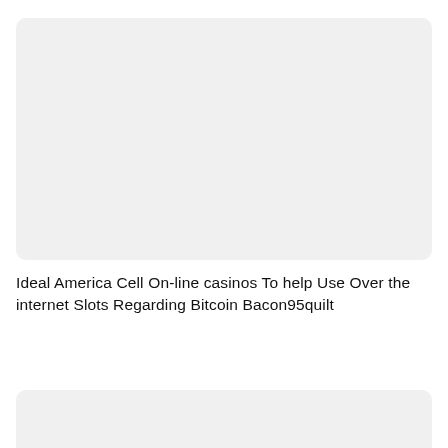[Figure (other): Gray placeholder image box at the top of the page]
Ideal America Cell On-line casinos To help Use Over the internet Slots Regarding Bitcoin Bacon95quilt
[Figure (other): Gray placeholder image box at the bottom of the page, partially visible]